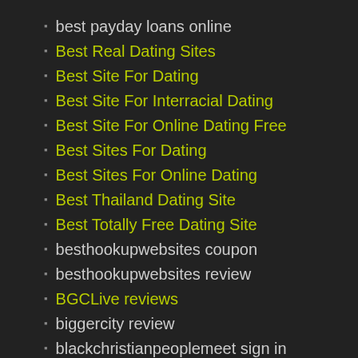best payday loans online
Best Real Dating Sites
Best Site For Dating
Best Site For Interracial Dating
Best Site For Online Dating Free
Best Sites For Dating
Best Sites For Online Dating
Best Thailand Dating Site
Best Totally Free Dating Site
besthookupwebsites coupon
besthookupwebsites review
BGCLive reviews
biggercity review
blackchristianpeoplemeet sign in